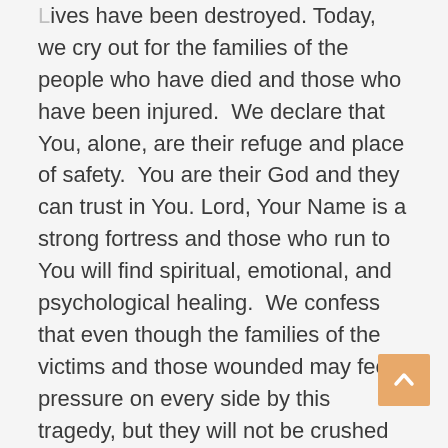Lives have been destroyed. Today, we cry out for the families of the people who have died and those who have been injured.  We declare that You, alone, are their refuge and place of safety.  You are their God and they can trust in You. Lord, Your Name is a strong fortress and those who run to You will find spiritual, emotional, and psychological healing.  We confess that even though the families of the victims and those wounded may feel pressure on every side by this tragedy, but they will not be crushed and broken. They may feel perplexed, but they will not give up and quit. They may feel like life is about to run them over, but they will not be abandoned by You. We recognize that their lives have been knocked down by this crime, but we decree that they will get up and keep